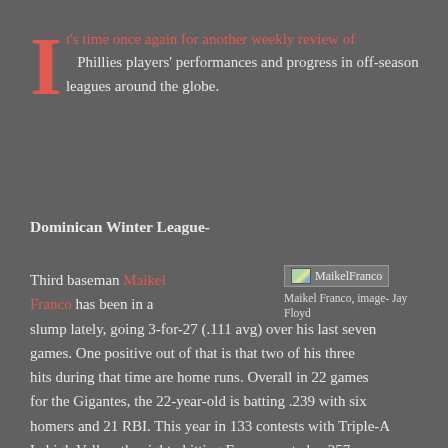It's time once again for another weekly review of Phillies players' performances and progress in off-season leagues around the globe.
Dominican Winter League-
Third baseman Maikel Franco has been in a slump lately, going 3-for-27 (.111 avg) over his last seven games. One positive out of that is that two of his three hits during that time are home runs. Overall in 22 games for the Gigantes, the 22-year-old is batting .239 with six homers and 21 RBI. This year in 133 contests with Triple-A Lehigh Valley, the righty hitting Franco posted a .257 batting average with 16 home runs and 78 RBI.
[Figure (photo): MaikelFranco image placeholder with caption: Maikel Franco, image- Jay Floyd]